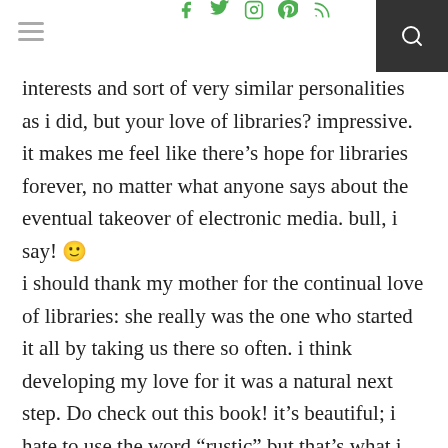f  twitter  instagram  pinterest  rss  search
interests and sort of very similar personalities as i did, but your love of libraries? impressive. it makes me feel like there’s hope for libraries forever, no matter what anyone says about the eventual takeover of electronic media. bull, i say! 🙂 i should thank my mother for the continual love of libraries: she really was the one who started it all by taking us there so often. i think developing my love for it was a natural next step. Do check out this book! it’s beautiful; i hate to use the word “rustic” but that’s what i think of, because none of it is that “exactly